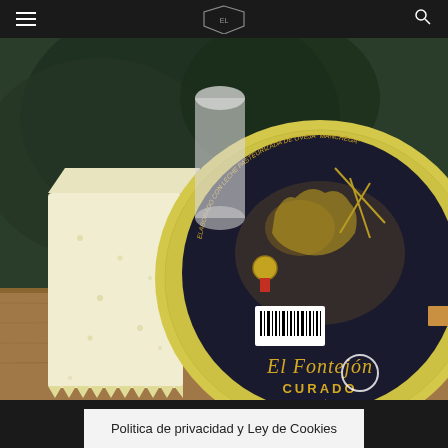[Figure (photo): A wheel of El Fontejón Curado (Artesanos Lácteos) sheep milk cheese with a decorative black and gold label, next to a cut piece of white cheese, on a wooden surface with green foliage in the background.]
Politica de privacidad y Ley de Cookies